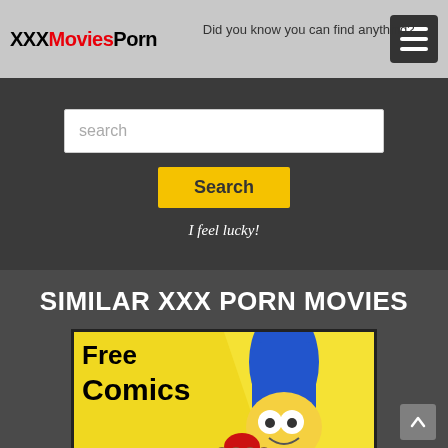XXXMoviesPorn — Did you know you can find anything?
search
Search
I feel lucky!
SIMILAR XXX PORN MOVIES
[Figure (illustration): Cartoon image showing a Marge Simpson-like character with blue hair and boxing gloves holding a tray of cookies, with text 'Free Comics' overlaid on a yellow background]